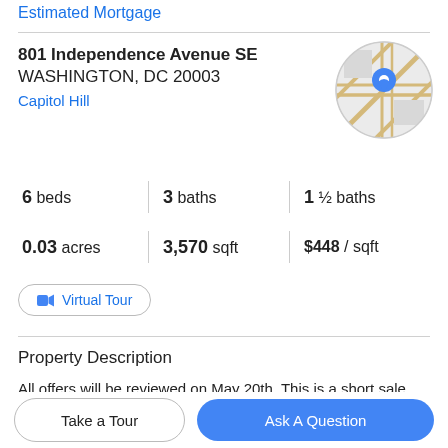Estimated Mortgage
801 Independence Avenue SE
WASHINGTON, DC 20003
Capitol Hill
[Figure (map): Circular map thumbnail showing street map with a blue location pin marker]
6 beds   3 baths   1 ½ baths
0.03 acres   3,570 sqft   $448 / sqft
Virtual Tour
Property Description
All offers will be reviewed on May 20th. This is a short sale. Third party approval is required. This light-filled home
Take a Tour
Ask A Question